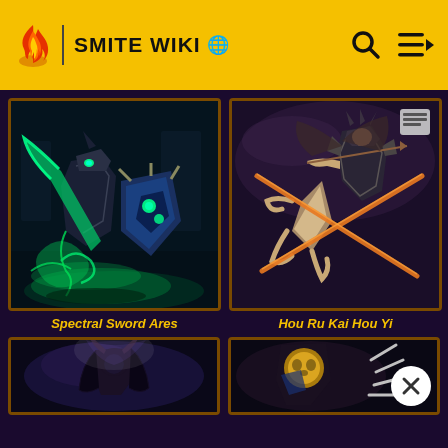SMITE WIKI
[Figure (illustration): Spectral Sword Ares skin art - dark armored warrior with green glowing scythe and shield]
Spectral Sword Ares
[Figure (illustration): Hou Ru Kai Hou Yi skin art - archer warrior with orange crossed arrows]
Hou Ru Kai Hou Yi
[Figure (illustration): Partial view of a dark female character with horns]
[Figure (illustration): Partial view of a character with gold mask and claws]